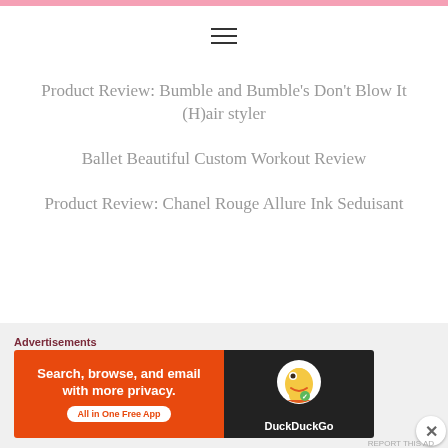[Figure (other): Pink horizontal bar at top of page]
[Figure (other): Hamburger menu icon (three horizontal lines)]
Product Review: Bumble and Bumble's Don't Blow It (H)air styler
Ballet Beautiful Custom Workout Review
Product Review: Chanel Rouge Allure Ink Seduisant
Advertisements
[Figure (other): DuckDuckGo advertisement banner: 'Search, browse, and email with more privacy. All in One Free App' with DuckDuckGo logo on dark right panel]